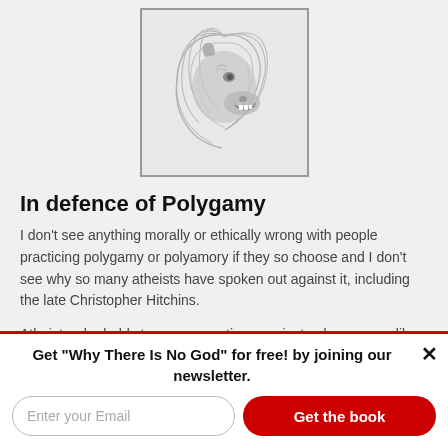[Figure (logo): Lion head silhouette illustration in gray, facing right with mouth open, inside a square border]
In defence of Polygamy
I don't see anything morally or ethically wrong with people practicing polygamy or polyamory if they so choose and I don't see why so many atheists have spoken out against it, including the late Christopher Hitchins.
Atheists who hold strong perspectives against polygamy are like the atheists who argue in favor of there being a
Get "Why There Is No God" for free! by joining our newsletter.